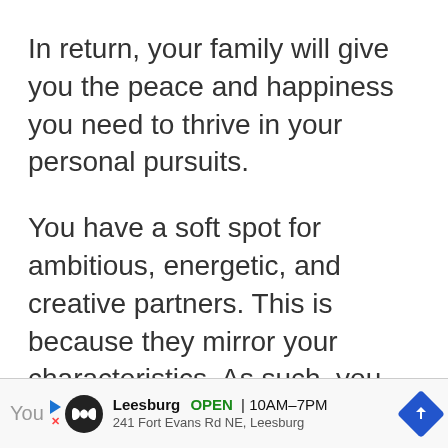In return, your family will give you the peace and happiness you need to thrive in your personal pursuits.
You have a soft spot for ambitious, energetic, and creative partners. This is because they mirror your characteristics. As such, you can form very solid relationships with them.
You | Leesburg OPEN 10AM–7PM 241 Fort Evans Rd NE, Leesburg